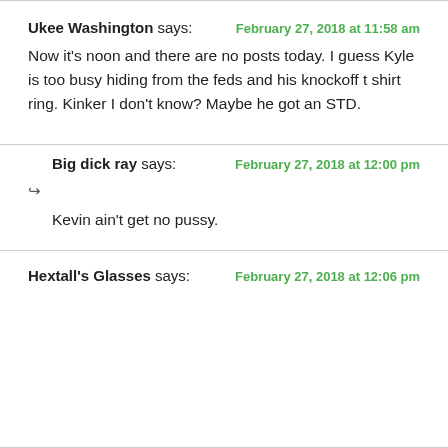Ukee Washington says:  February 27, 2018 at 11:58 am
Now it's noon and there are no posts today. I guess Kyle is too busy hiding from the feds and his knockoff t shirt ring. Kinker I don't know? Maybe he got an STD.
Big dick ray says:  February 27, 2018 at 12:00 pm
Kevin ain't get no pussy.
Hextall's Glasses says:  February 27, 2018 at 12:06 pm